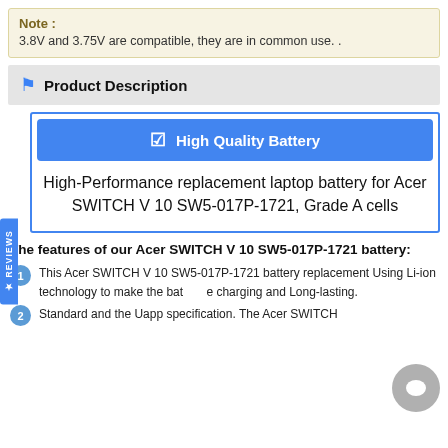Note : 3.8V and 3.75V are compatible, they are in common use. .
Product Description
High Quality Battery
High-Performance replacement laptop battery for Acer SWITCH V 10 SW5-017P-1721, Grade A cells
The features of our Acer SWITCH V 10 SW5-017P-1721 battery:
This Acer SWITCH V 10 SW5-017P-1721 battery replacement Using Li-ion technology to make the battery charging and Long-lasting.
Standard and the Uapp specification. The Acer SWITCH